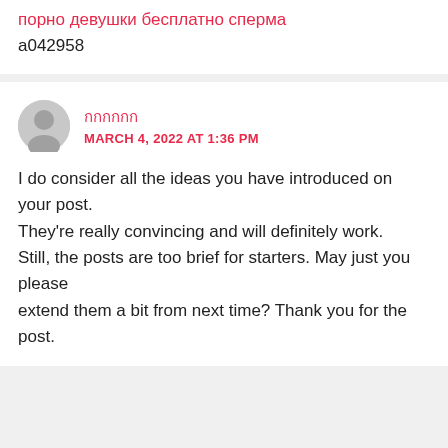порно девушки бесплатно сперма
a042958
กกกกกก
MARCH 4, 2022 AT 1:36 PM
I do consider all the ideas you have introduced on your post.
They're really convincing and will definitely work.
Still, the posts are too brief for starters. May just you please
extend them a bit from next time? Thank you for the post.